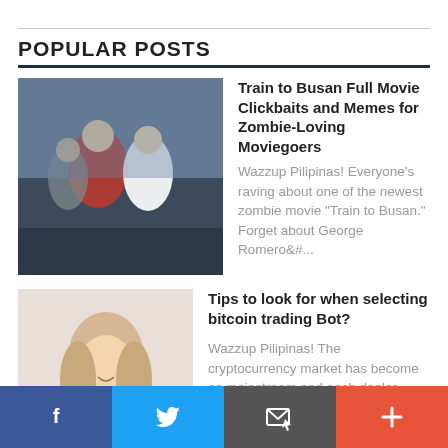POPULAR POSTS
Train to Busan Full Movie Clickbaits and Memes for Zombie-Loving Moviegoers
Wazzup Pilipinas! Everyone's raving about one of the newest zombie movie "Train to Busan." Forget about George Romero&#...
Tips to look for when selecting bitcoin trading Bot?
Wazzup Pilipinas! The cryptocurrency market has become as mainstream and each dealer needs to make it greater than bitcoin exchanging. In an...
Benefits and basic knowledge about Linux VPS hosting